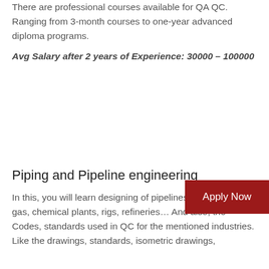There are professional courses available for QA QC. Ranging from 3-month courses to one-year advanced diploma programs.
Avg Salary after 2 years of Experience: 30000 – 100000
Piping and Pipeline engineering
In this, you will learn designing of pipelines wi... and gas, chemical plants, rigs, refineries… And also, the Codes, standards used in QC for the mentioned industries. Like the drawings, standards, isometric drawings,